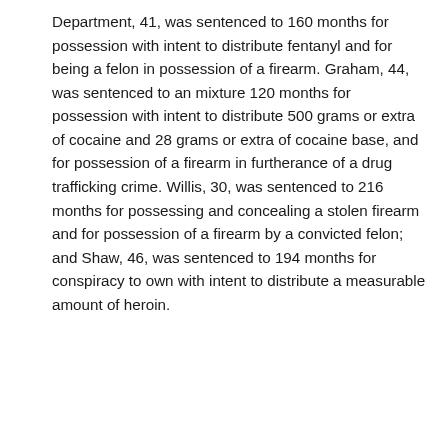Department, 41, was sentenced to 160 months for possession with intent to distribute fentanyl and for being a felon in possession of a firearm. Graham, 44, was sentenced to an mixture 120 months for possession with intent to distribute 500 grams or extra of cocaine and 28 grams or extra of cocaine base, and for possession of a firearm in furtherance of a drug trafficking crime. Willis, 30, was sentenced to 216 months for possessing and concealing a stolen firearm and for possession of a firearm by a convicted felon; and Shaw, 46, was sentenced to 194 months for conspiracy to own with intent to distribute a measurable amount of heroin.